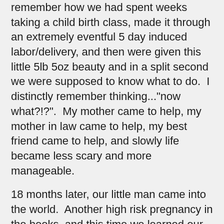remember how we had spent weeks taking a child birth class, made it through an extremely eventful 5 day induced labor/delivery, and then were given this little 5lb 5oz beauty and in a split second we were supposed to know what to do.  I distinctly remember thinking..."now what?!?".  My mother came to help, my mother in law came to help, my best friend came to help, and slowly life became less scary and more manageable.
18 months later, our little man came into the world.  Another high risk pregnancy in the books, and this time we learned our son would be born with a congenital heart defect.  I remember being scared and numb at the same time.  Thinking back, I don't remember wondering how it would impact our first child or us, we just went with the punches.  Thankfully his NICU stay was brief and we came home within 3 days.  Now life with two kiddos was crazy at first.  While I was pregnant I received the best advice from a mom in one of our daughters activities.  "Having two children is crazy, and don't expect things to settle down for the first 5-6 months".  During the first 5 months after our son was born I would remind myself of this saying all the time.  I was